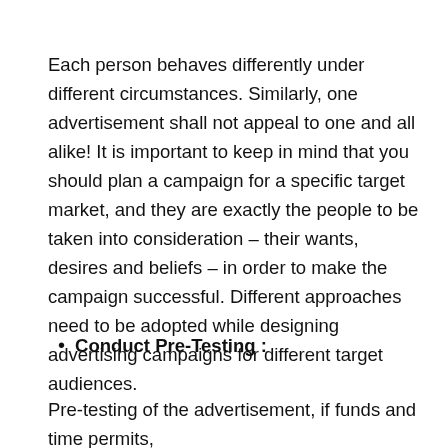Each person behaves differently under different circumstances. Similarly, one advertisement shall not appeal to one and all alike! It is important to keep in mind that you should plan a campaign for a specific target market, and they are exactly the people to be taken into consideration – their wants, desires and beliefs – in order to make the campaign successful. Different approaches need to be adopted while designing advertising campaigns for different target audiences.
Conduct Pre-Testing :
Pre-testing of the advertisement, if funds and time permits,